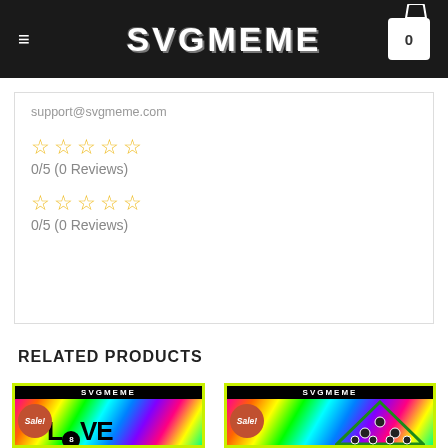SVGMEME
support@svgmeme.com
☆ ☆ ☆ ☆ ☆
0/5 (0 Reviews)
☆ ☆ ☆ ☆ ☆
0/5 (0 Reviews)
RELATED PRODUCTS
[Figure (photo): Sale! product card showing LOVE text with 8-ball, rainbow background, SVGMEME header]
[Figure (photo): Sale! product card showing rack of billiard balls with RACK 'EM text, rainbow background, SVGMEME header]